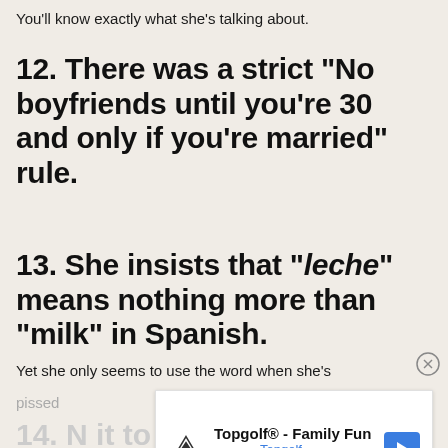You’ll know exactly what she’s talking about.
12. There was a strict “No boyfriends until you’re 30 and only if you’re married” rule.
13. She insists that “leche” means nothing more than “milk” in Spanish.
Yet she only seems to use the word when she’s
pissed
[Figure (other): Advertisement overlay for Topgolf - Family Fun with Topgolf logo and navigation arrow]
14. N... it to